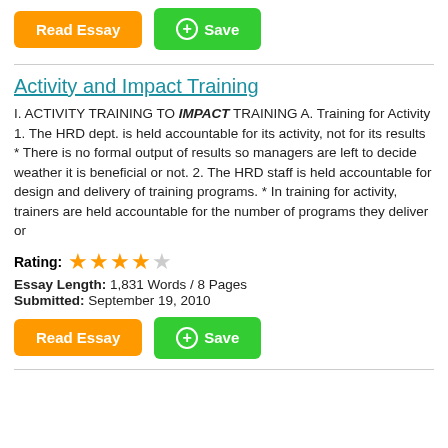[Figure (other): Read Essay (orange button) and Save (green button with plus circle) at top]
Activity and Impact Training
I. ACTIVITY TRAINING TO IMPACT TRAINING A. Training for Activity 1. The HRD dept. is held accountable for its activity, not for its results * There is no formal output of results so managers are left to decide weather it is beneficial or not. 2. The HRD staff is held accountable for design and delivery of training programs. * In training for activity, trainers are held accountable for the number of programs they deliver or
Rating: ★★★★☆
Essay Length: 1,831 Words / 8 Pages
Submitted: September 19, 2010
[Figure (other): Read Essay (orange button) and Save (green button with plus circle) at bottom]